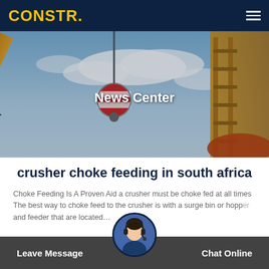CONSTR.
[Figure (photo): Construction cranes (Hyundai) against a blue sky background with 'News Center' text overlay]
crusher choke feeding in south africa
Choke Feeding Is A Proven Aid a crusher must be choke fed at all times The best way to choke feed to the crusher is with a surge bin or hopper and feeder that are located…